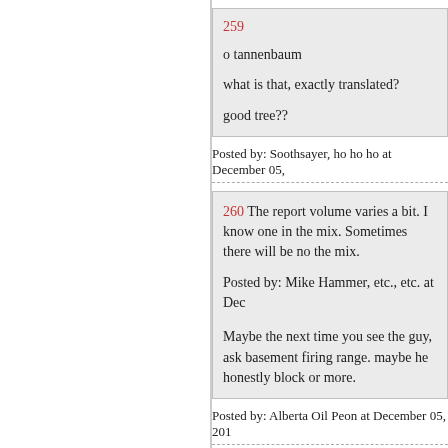259

o tannenbaum

what is that, exactly translated?

good tree??
Posted by: Soothsayer, ho ho ho at December 05,
260 The report volume varies a bit. I know one in the mix. Sometimes there will be no one in the mix.

Posted by: Mike Hammer, etc., etc. at Dec

Maybe the next time you see the guy, ask basement firing range. maybe he honestly block or more.
Posted by: Alberta Oil Peon at December 05, 201
261 o tannenbaum